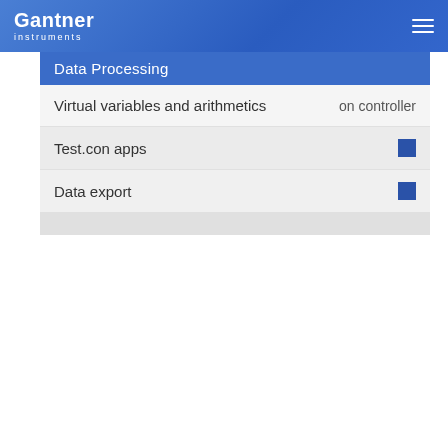Gantner instruments
| Data Processing |  |
| --- | --- |
| Virtual variables and arithmetics | on controller |
| Test.con apps | ■ |
| Data export | ■ |
[Figure (schematic): Blue background section with a white line diagram showing a controller/module schematic with input blocks and output connectors]